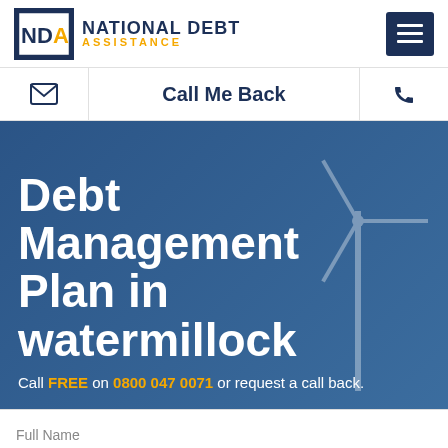[Figure (logo): National Debt Assistance (NDA) logo with dark blue square NDA initials and company name, plus hamburger menu button]
Call Me Back
Debt Management Plan in watermillock
Call FREE on 0800 047 0071 or request a call back.
Full Name